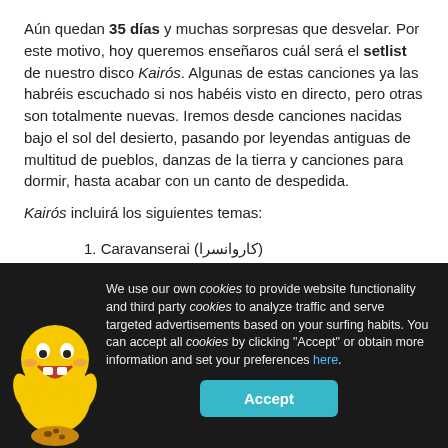Aún quedan 35 días y muchas sorpresas que desvelar. Por este motivo, hoy queremos enseñaros cuál será el setlist de nuestro disco Kairós. Algunas de estas canciones ya las habréis escuchado si nos habéis visto en directo, pero otras son totalmente nuevas. Iremos desde canciones nacidas bajo el sol del desierto, pasando por leyendas antiguas de multitud de pueblos, danzas de la tierra y canciones para dormir, hasta acabar con un canto de despedida.
Kairós incluirá los siguientes temas:
1. Caravanserai (کاروانسرا)
2. Harsha (हर्षा)
We use our own cookies to provide website functionality and third party cookies to analyze traffic and serve targeted advertisements based on your surfing habits. You can accept all cookies by clicking "Accept" or obtain more information and set your preferences here.